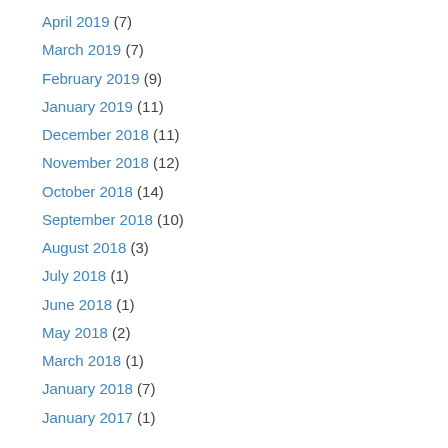April 2019 (7)
March 2019 (7)
February 2019 (9)
January 2019 (11)
December 2018 (11)
November 2018 (12)
October 2018 (14)
September 2018 (10)
August 2018 (3)
July 2018 (1)
June 2018 (1)
May 2018 (2)
March 2018 (1)
January 2018 (7)
January 2017 (1)